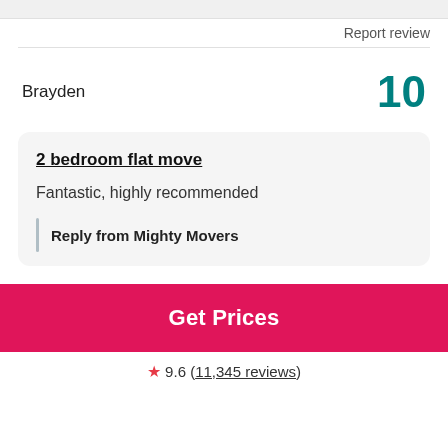Report review
Brayden
10
2 bedroom flat move
Fantastic, highly recommended
Reply from Mighty Movers
Get Prices
9.6 (11,345 reviews)